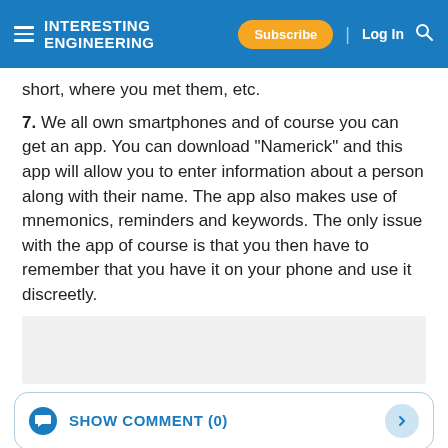INTERESTING ENGINEERING | Subscribe | Log In
short, where you met them, etc.
7. We all own smartphones and of course you can get an app. You can download “Namerick” and this app will allow you to enter information about a person along with their name. The app also makes use of mnemonics, reminders and keywords. The only issue with the app of course is that you then have to remember that you have it on your phone and use it discreetly.
[Figure (other): Advertisement placeholder box]
SHOW COMMENT (0)